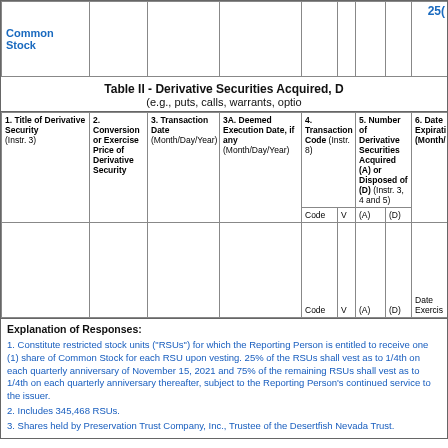| 1. Title of Derivative Security (Instr. 3) | 2. Conversion or Exercise Price of Derivative Security | 3. Transaction Date (Month/Day/Year) | 3A. Deemed Execution Date, if any (Month/Day/Year) | 4. Transaction Code (Instr. 8) | 5. Number of Derivative Securities Acquired (A) or Disposed of (D) (Instr. 3, 4 and 5) | 6. Date Expiration (Month/...) | Code | V | (A) | (D) | Date Exercis |
| --- | --- | --- | --- | --- | --- | --- | --- | --- | --- | --- | --- |
| Common Stock |  |  |  |  |  | 25( |  |  |  |  |  |
Table II - Derivative Securities Acquired, D (e.g., puts, calls, warrants, optio
Explanation of Responses:
1. Constitute restricted stock units ("RSUs") for which the Reporting Person is entitled to receive one (1) share of Common Stock for each RSU upon vesting. 25% of the RSUs shall vest as to 1/4th on each quarterly anniversary of November 15, 2021 and 75% of the remaining RSUs shall vest as to 1/4th on each quarterly anniversary thereafter, subject to the Reporting Person's continued service to the issuer.
2. Includes 345,468 RSUs.
3. Shares held by Preservation Trust Company, Inc., Trustee of the Desertfish Nevada Trust.